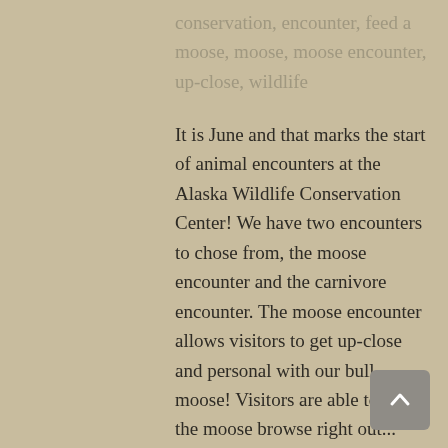conservation, encounter, feed a moose, moose, moose encounter, up-close, wildlife
It is June and that marks the start of animal encounters at the Alaska Wildlife Conservation Center! We have two encounters to chose from, the moose encounter and the carnivore encounter. The moose encounter allows visitors to get up-close and personal with our bull moose! Visitors are able to feed the moose browse right out...